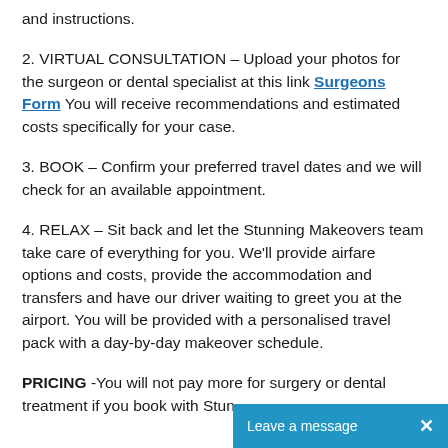and instructions.
2. VIRTUAL CONSULTATION – Upload your photos for the surgeon or dental specialist at this link Surgeons Form You will receive recommendations and estimated costs specifically for your case.
3. BOOK – Confirm your preferred travel dates and we will check for an available appointment.
4. RELAX – Sit back and let the Stunning Makeovers team take care of everything for you. We'll provide airfare options and costs, provide the accommodation and transfers and have our driver waiting to greet you at the airport. You will be provided with a personalised travel pack with a day-by-day makeover schedule.
PRICING -You will not pay more for surgery or dental treatment if you book with Stun…